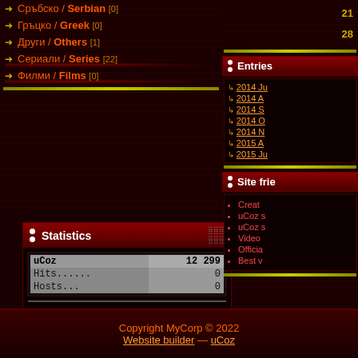Сръбско / Serbian [0]
Гръцко / Greek [0]
Други / Others [1]
Сериали / Series [22]
Филми / Films [0]
Statistics
|  |  |
| --- | --- |
| uCoz | 12 299 |
| Hits...... | 0 |
| Hosts... | 0 |
Total online: 1
Guests: 1
Users: 0
Entries
2014 Ju
2014 A
2014 S
2014 O
2014 N
2015 A
2015 Ju
21
28
Site frie
Creat
uCoz s
uCoz s
Video
Officia
Best v
Copyright MyCorp © 2022
Website builder — uCoz